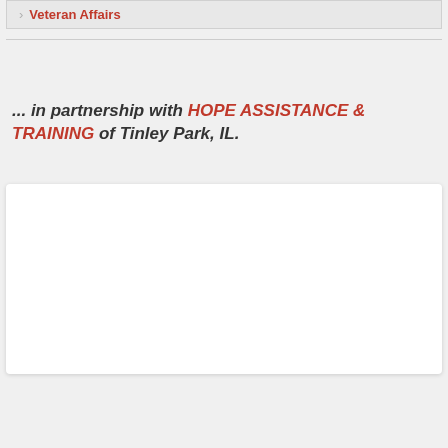Veteran Affairs
... in partnership with HOPE ASSISTANCE & TRAINING of Tinley Park, IL.
[Figure (other): White card/box with shadow, likely containing an embedded image or map that is not visible in this crop.]